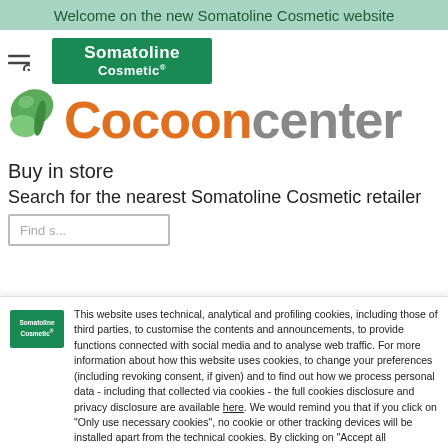Welcome on the new Somatoline Cosmetic website
[Figure (logo): Somatoline Cosmetic green logo box with white bold text]
[Figure (logo): Cocooncenter logo with green butterfly and orange/gray text]
Buy in store
Search for the nearest Somatoline Cosmetic retailer
This website uses technical, analytical and profiling cookies, including those of third parties, to customise the contents and announcements, to provide functions connected with social media and to analyse web traffic. For more information about how this website uses cookies, to change your preferences (including revoking consent, if given) and to find out how we process personal data - including that collected via cookies - the full cookies disclosure and privacy disclosure are available here. We would remind you that if you click on "Only use necessary cookies", no cookie or other tracking devices will be installed apart from the technical cookies. By clicking on "Accept all